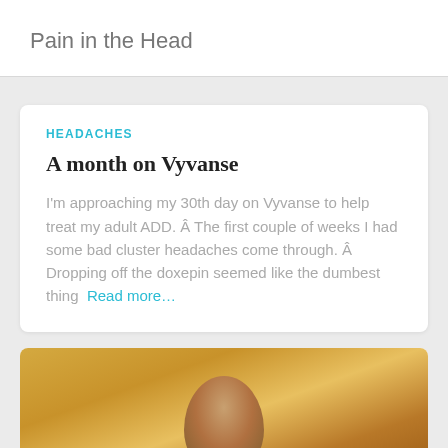Pain in the Head
HEADACHES
A month on Vyvanse
I'm approaching my 30th day on Vyvanse to help treat my adult ADD. Â The first couple of weeks I had some bad cluster headaches come through. Â Dropping off the doxepin seemed like the dumbest thing Read more...
[Figure (photo): Partial view of a person's head/face against a golden/yellow background, cropped at bottom of page]